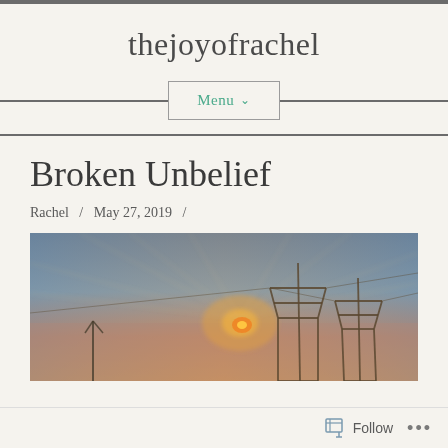thejoyofrachel
Menu ∨
Broken Unbelief
Rachel  /  May 27, 2019  /
[Figure (photo): Photograph of two electricity pylons/transmission towers silhouetted against a hazy dusk sky with orange and blue tones, misty atmosphere]
Follow  ...